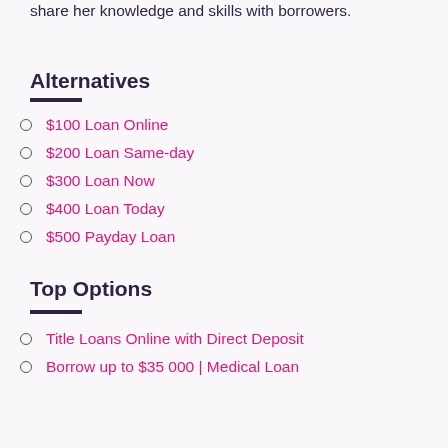share her knowledge and skills with borrowers.
Alternatives
$100 Loan Online
$200 Loan Same-day
$300 Loan Now
$400 Loan Today
$500 Payday Loan
Top Options
Title Loans Online with Direct Deposit
Borrow up to $35 000 | Medical Loan